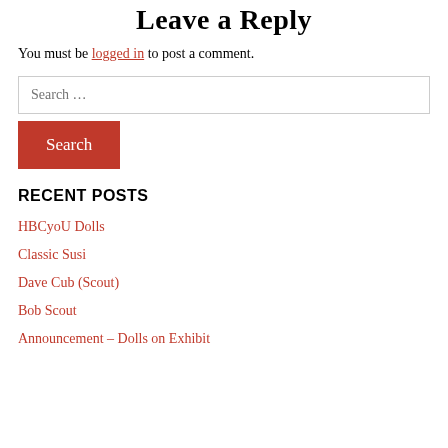Leave a Reply
You must be logged in to post a comment.
Search …
RECENT POSTS
HBCyoU Dolls
Classic Susi
Dave Cub (Scout)
Bob Scout
Announcement – Dolls on Exhibit